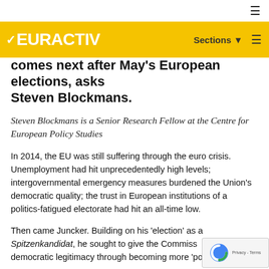EURACTIV — Sections ☰
comes next after May's European elections, asks Steven Blockmans.
Steven Blockmans is a Senior Research Fellow at the Centre for European Policy Studies
In 2014, the EU was still suffering through the euro crisis. Unemployment had hit unprecedentedly high levels; intergovernmental emergency measures burdened the Union's democratic quality; the trust in European institutions of a politics-fatigued electorate had hit an all-time low.
Then came Juncker. Building on his 'election' as a Spitzenkandidat, he sought to give the Commission democratic legitimacy through becoming more 'political'